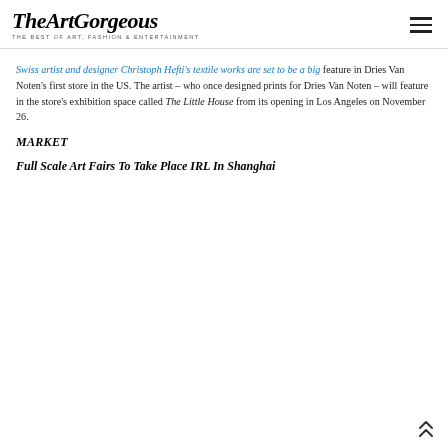TheArtGorgeous THE BEST OF ART, FASHION & ENTERTAINMENT
Swiss artist and designer Christoph Hefti's textile works are set to be a big feature in Dries Van Noten's first store in the US. The artist – who once designed prints for Dries Van Noten – will feature in the store's exhibition space called The Little House from its opening in Los Angeles on November 26.
MARKET
Full Scale Art Fairs To Take Place IRL In Shanghai
[Figure (other): Scroll-to-top arrow icon in bottom right corner]